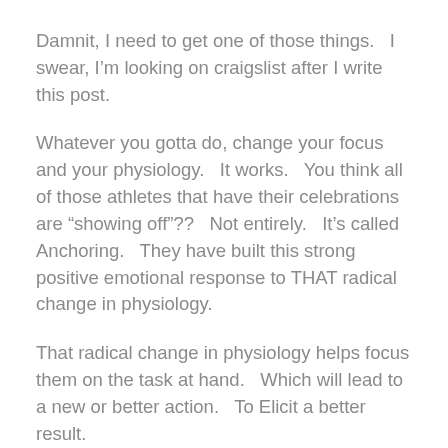Damnit, I need to get one of those things.   I swear, I'm looking on craigslist after I write this post.
Whatever you gotta do, change your focus and your physiology.   It works.   You think all of those athletes that have their celebrations are “showing off”??   Not entirely.   It’s called Anchoring.   They have built this strong positive emotional response to THAT radical change in physiology.
That radical change in physiology helps focus them on the task at hand.   Which will lead to a new or better action.   To Elicit a better result.